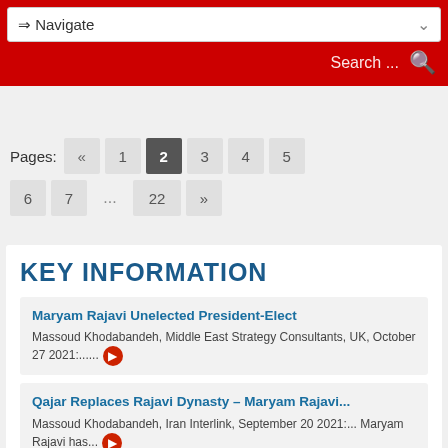⇒ Navigate | Search ...
Pages: « 1 2 3 4 5 6 7 ... 22 »
KEY INFORMATION
Maryam Rajavi Unelected President-Elect
Massoud Khodabandeh, Middle East Strategy Consultants, UK, October 27 2021:......
Qajar Replaces Rajavi Dynasty – Maryam Rajavi...
Massoud Khodabandeh, Iran Interlink, September 20 2021:... Maryam Rajavi has...